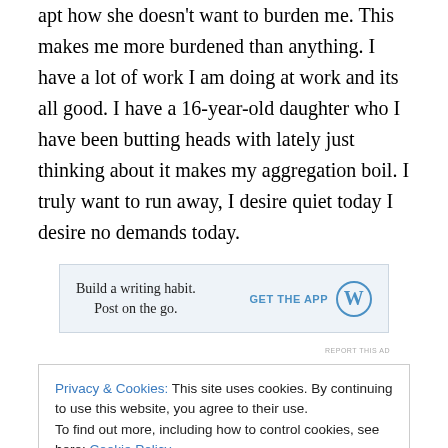apt how she doesn't want to burden me.  This makes me more burdened than anything. I have a lot of work I am doing at work and its all good. I have a 16-year-old daughter who I have been butting heads with lately just thinking about it makes my aggregation boil.  I truly want to run away,  I desire quiet today I desire no demands today.
[Figure (other): WordPress app advertisement banner: 'Build a writing habit. Post on the go.' with GET THE APP button and WordPress logo]
REPORT THIS AD
Privacy & Cookies: This site uses cookies. By continuing to use this website, you agree to their use.
To find out more, including how to control cookies, see here: Cookie Policy
[Close and accept button]
I believe God is taking care of me I believe God is good